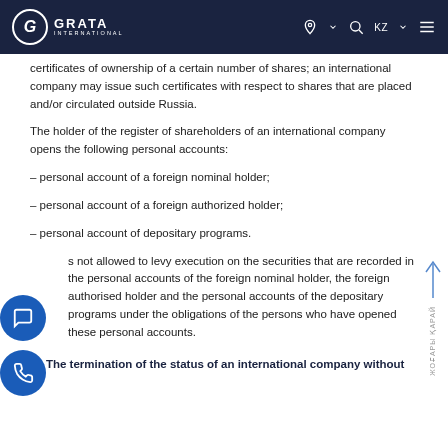GRATA INTERNATIONAL
certificates of ownership of a certain number of shares; an international company may issue such certificates with respect to shares that are placed and/or circulated outside Russia.
The holder of the register of shareholders of an international company opens the following personal accounts:
– personal account of a foreign nominal holder;
– personal account of a foreign authorized holder;
– personal account of depositary programs.
It is not allowed to levy execution on the securities that are recorded in the personal accounts of the foreign nominal holder, the foreign authorised holder and the personal accounts of the depositary programs under the obligations of the persons who have opened these personal accounts.
4.  The termination of the status of an international company without